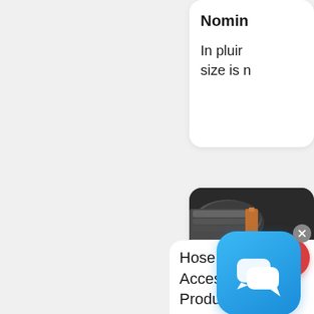Nomin... In pluin size is n...
[Figure (screenshot): Hose image thumbnail with dark rubber hoses]
Hose And Acces Produ – Omni Service
[Figure (screenshot): Chat support overlay icon - blue speech bubble icon with X close button]
[Figure (other): Red scroll-to-top button with double chevron up arrow]
Hose a Acces Produc